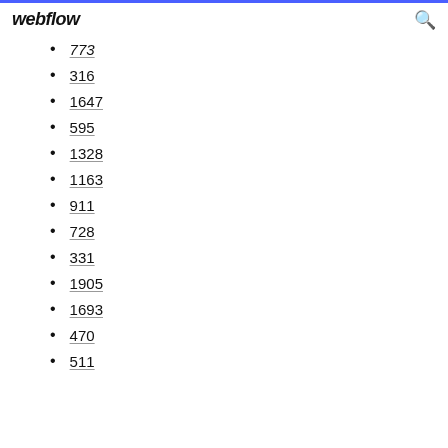webflow
773
316
1647
595
1328
1163
911
728
331
1905
1693
470
511